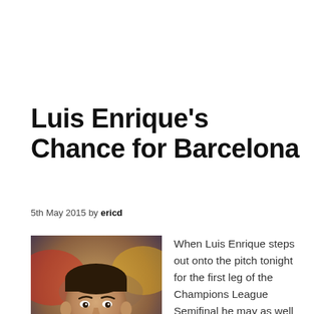Luis Enrique’s Chance for Barcelona
5th May 2015 by ericd
[Figure (photo): Photo of Luis Enrique, a man in a dark coat, looking forward, with blurred background of red and yellow colors]
When Luis Enrique steps out onto the pitch tonight for the first leg of the Champions League Semifinal he may as well be invisible. With Pep’s